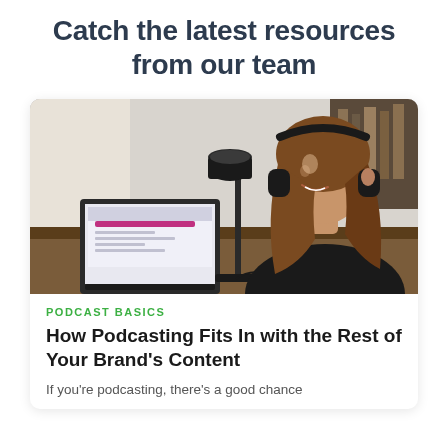Catch the latest resources from our team
[Figure (photo): Woman with headphones smiling at a microphone in a podcast studio, with a laptop open on the desk in front of her.]
PODCAST BASICS
How Podcasting Fits In with the Rest of Your Brand's Content
If you're podcasting, there's a good chance